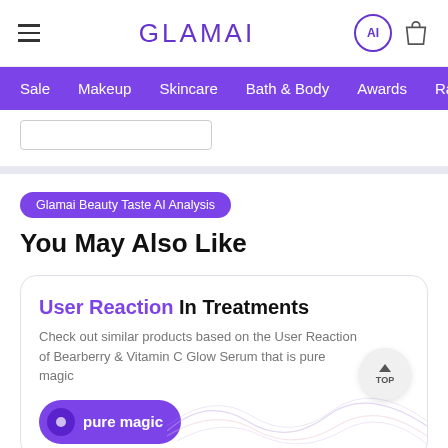GLAMAI
Sale  Makeup  Skincare  Bath & Body  Awards  Rankings
Glamai Beauty Taste AI Analysis
You May Also Like
User Reaction In Treatments
Check out similar products based on the User Reaction of Bearberry & Vitamin C Glow Serum that is pure magic
pure magic